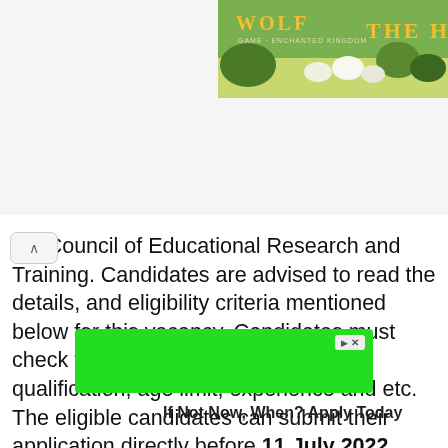[Figure (screenshot): Banner advertisement showing Wolf game promotional image with wolves and yellow title text 'WOLF' and 'THE H...' on a nature background]
nal Council of Educational Research and Training. Candidates are advised to read the details, and eligibility criteria mentioned below for this vacancy. Candidates must check their eligibility i.e. educational qualification, age limit, experience and etc. The eligible candidates can submit their application directly before 11 July 2022. Candidates can check the latest National Council of Educational Research and Training Recruitment 2022 Senior Consultant, Consultant, Data Manager, System Analyst, More Vacancy 2022 details and apply online
[Figure (screenshot): Green advertisement banner with ad icon showing play and X buttons]
If Not Now, When? Apply Today